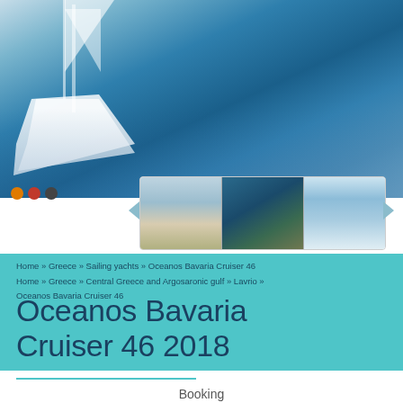[Figure (photo): Aerial view of a white sailing yacht on blue Mediterranean sea, with three thumbnail photos below showing the yacht from different angles]
Home » Greece » Sailing yachts » Oceanos Bavaria Cruiser 46
Home » Greece » Central Greece and Argosaronic gulf » Lavrio » Oceanos Bavaria Cruiser 46
Oceanos Bavaria Cruiser 46 2018
Booking